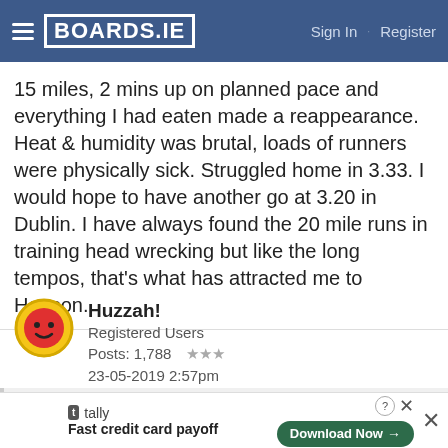BOARDS.IE — Sign In · Register
15 miles, 2 mins up on planned pace and everything I had eaten made a reappearance. Heat & humidity was brutal, loads of runners were physically sick. Struggled home in 3.33. I would hope to have another go at 3.20 in Dublin. I have always found the 20 mile runs in training head wrecking but like the long tempos, that's what has attracted me to Hanson.
Huzzah!
Registered Users
Posts: 1,788 ★★★
23-05-2019 2:57pm
ReeReeG wrote: »
shotgunmcos you are to blame for my purchase of